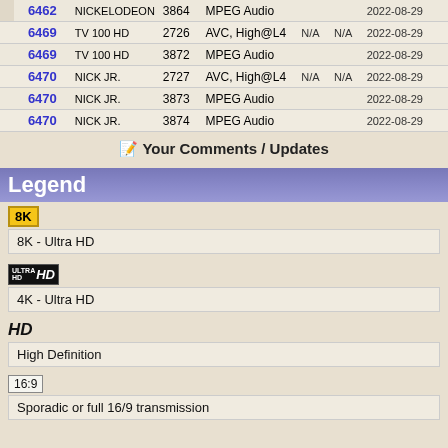|  | Channel | Name | PID | Codec |  |  | Date |
| --- | --- | --- | --- | --- | --- | --- | --- |
|  | 6462 | NICKELODEON | 3864 | MPEG Audio |  |  | 2022-08-29 |
| green | 6469 | TV 100 HD | 2726 | AVC, High@L4 | N/A | N/A | 2022-08-29 |
| pink | 6469 | TV 100 HD | 3872 | MPEG Audio |  |  | 2022-08-29 |
| green | 6470 | NICK JR. | 2727 | AVC, High@L4 | N/A | N/A | 2022-08-29 |
| pink | 6470 | NICK JR. | 3873 | MPEG Audio |  |  | 2022-08-29 |
| pink | 6470 | NICK JR. | 3874 | MPEG Audio |  |  | 2022-08-29 |
Your Comments / Updates
Legend
[Figure (infographic): 8K badge - yellow background with black text '8K']
8K - Ultra HD
[Figure (infographic): 4K Ultra HD badge - dark background with white text]
4K - Ultra HD
[Figure (infographic): HD badge - bold italic black text]
High Definition
[Figure (infographic): 16:9 badge - bordered box with text '16:9']
Sporadic or full 16/9 transmission